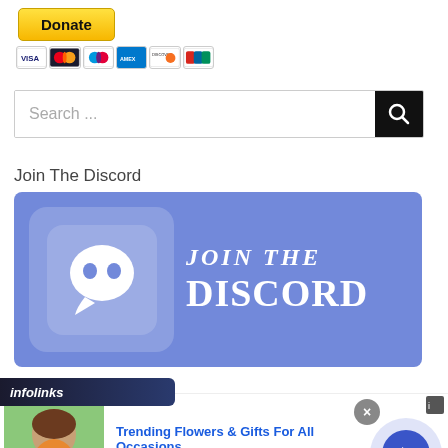[Figure (other): PayPal Donate button with yellow/gold gradient and bold text 'Donate', followed by payment card icons (VISA, Mastercard, Maestro, Amex, Discover, UnionPay)]
[Figure (other): Search bar with placeholder text 'Search ...' and a black search button with magnifier icon on the right]
Join The Discord
[Figure (illustration): Discord banner with purple/blue background showing Discord logo on the left and text 'JOIN THE DISCORD' in white bold letters]
[Figure (other): Infolinks advertisement bar with dark background, containing an ad for 1800flowers.com: 'Trending Flowers & Gifts For All Occasions', 'Shop The Collection', 'www.1800flowers.com' with a photo of a woman with flowers and a blue arrow button]
[Figure (other): Infolinks label bar in dark navy/blue with italic white text 'infolinks']